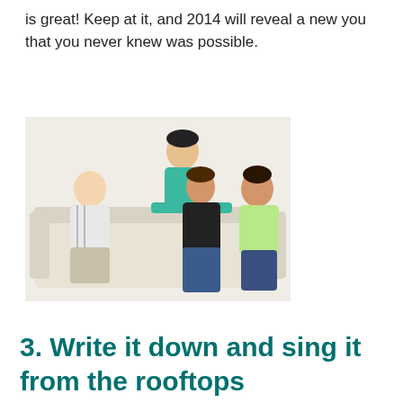is great! Keep at it, and 2014 will reveal a new you that you never knew was possible.
[Figure (photo): Four young adults socializing on a couch — one man in white striped shirt on left, a man in teal shirt leaning over the back of the couch, a woman in black shirt in the center, and a man in light green shirt on the right.]
3. Write it down and sing it from the rooftops